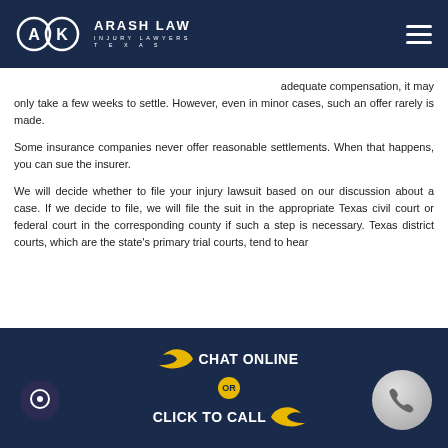Arash Law Injury Lawyers Texas
adequate compensation, it may only take a few weeks to settle. However, even in minor cases, such an offer rarely is made.
Some insurance companies never offer reasonable settlements. When that happens, you can sue the insurer.
We will decide whether to file your injury lawsuit based on our discussion about a case. If we decide to file, we will file the suit in the appropriate Texas civil court or federal court in the corresponding county if such a step is necessary. Texas district courts, which are the state's primary trial courts, tend to hear
[Figure (infographic): Dark navy footer bar with chat online or click to call CTA. Yellow arrows, OR badge in gold circle, chat bubble icon on left, phone icon on right.]